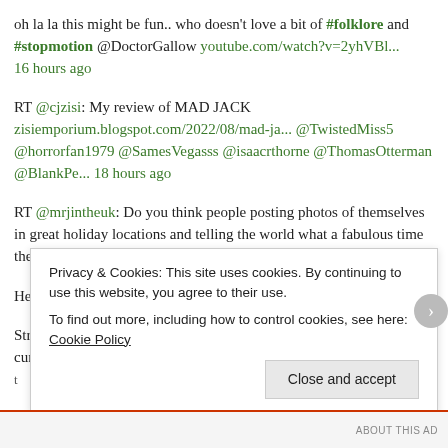oh la la this might be fun.. who doesn't love a bit of #folklore and #stopmotion @DoctorGallow youtube.com/watch?v=2yhVBl... 16 hours ago
RT @cjzisi: My review of MAD JACK zisiemporium.blogspot.com/2022/08/mad-ja... @TwistedMiss5 @horrorfan1979 @SamesVegasss @isaacrthorne @ThomasOtterman @BlankPe... 18 hours ago
RT @mrjintheuk: Do you think people posting photos of themselves in great holiday locations and telling the world what a fabulous time they... 3 days ago
He's good people https://t.co/R9vZT4caaP 4 days ago
Strange Blood (2015) When a brilliant scientist attempts to find a cure for all diseases he becomes infected by his...
Privacy & Cookies: This site uses cookies. By continuing to use this website, you agree to their use.
To find out more, including how to control cookies, see here: Cookie Policy
Close and accept